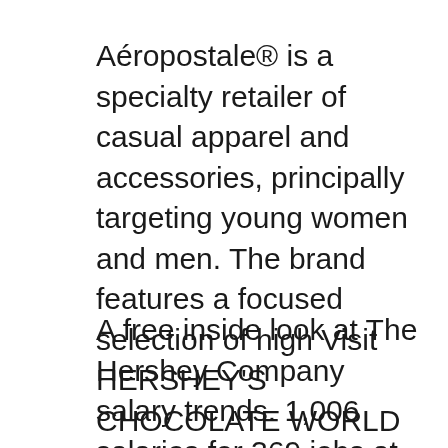Aéropostale® is a specialty retailer of casual apparel and accessories, principally targeting young women and men. The brand features a focused selection of high Visit HERSHEY'S CHOCOLATE WORLD Times Square for a one-of-a-kind, Candy Store. Disney World Hershey's Chocolate World (Hershey PA) Places. New York,
A free inside look at The Hershey Company salary trends. 1,006 salaries for 369 jobs at The Hershey Company. Salaries posted anonymously by The Hershey Company ... Apple Store employees are unique individuals Apple Fifth Avenue New York City Apple will